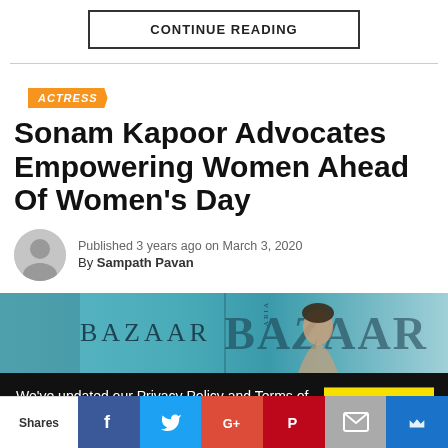CONTINUE READING
ACTRESS
Sonam Kapoor Advocates Empowering Women Ahead Of Women's Day
Published 3 years ago on March 3, 2020
By Sampath Pavan
[Figure (photo): Harper's Bazaar magazine covers featuring a woman on a teal/cyan background]
We've updated our Privacy Policy and Terms of Service to make sure the usage of users data in a more clearer way. Click "Okay, I
Okay, I Understand
Shares